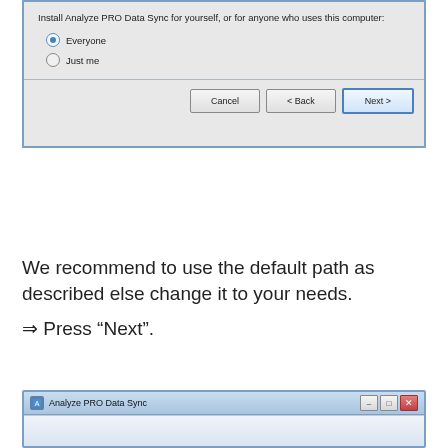[Figure (screenshot): Windows installer dialog for Analyze PRO Data Sync showing installation options: 'Everyone' (selected) and 'Just me', with Cancel, Back, and Next buttons]
We recommend to use the default path as described else change it to your needs.
⇒ Press “Next”.
[Figure (screenshot): Analyze PRO Data Sync installer window title bar at the bottom of the page]